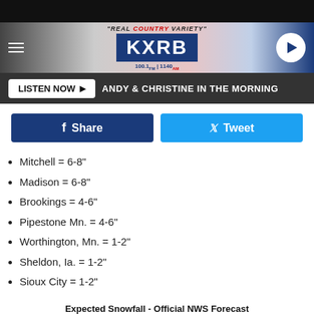[Figure (logo): KXRB 100.1 FM / 1140 AM radio station header with tagline 'Real Country Variety']
LISTEN NOW  ANDY & CHRISTINE IN THE MORNING
Share  Tweet
Mitchell = 6-8"
Madison = 6-8"
Brookings = 4-6"
Pipestone Mn. = 4-6"
Worthington, Mn. = 1-2"
Sheldon, Ia. = 1-2"
Sioux City = 1-2"
Expected Snowfall - Official NWS Forecast
Valid: 12/27/2019 06:00 PM - 12/29/2019 06:00 AM
[Figure (map): NWS snowfall forecast map showing Redfield 6-8", Watertown 6-8", Montevideo 6-8" with color scale showing 60.0, 72.0, 96.0]